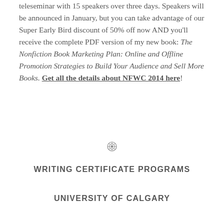teleseminar with 15 speakers over three days. Speakers will be announced in January, but you can take advantage of our Super Early Bird discount of 50% off now AND you'll receive the complete PDF version of my new book: The Nonfiction Book Marketing Plan: Online and Offline Promotion Strategies to Build Your Audience and Sell More Books. Get all the details about NFWC 2014 here!
[Figure (illustration): Small decorative ornament / snowflake-like symbol used as a section divider]
WRITING CERTIFICATE PROGRAMS
UNIVERSITY OF CALGARY